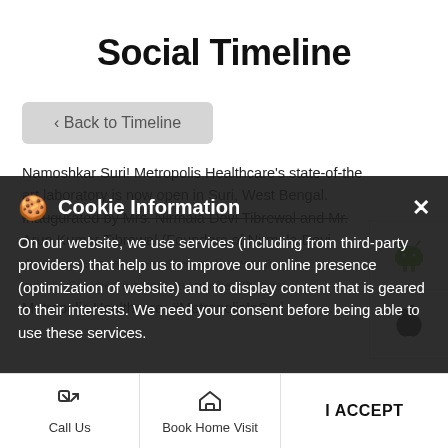Social Timeline
< Back to Timeline
Namoshkar Suri! Metropolis Healthcare's state-of-the-art laboratory is now open in Suri, West Bengal. Inaugurated by Mrs. Nirmala Devi Tibrewal and Mr. Arun Kumar Tibrewal (Founders of Nirmala Devi ... quickly. So when it comes to your health, trust Metropolis Healthcare. #MetropolisInSuri
Cookie Information
On our website, we use services (including from third-party providers) that help us to improve our online presence (optimization of website) and to display content that is geared to their interests. We need your consent before being able to use these services.
I ACCEPT
Call Us
Book Home Visit
Directions